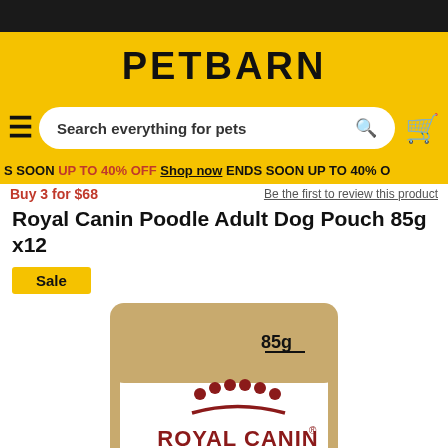PETBARN
Search everything for pets
S SOON UP TO 40% OFF Shop now ENDS SOON UP TO 40% O
Buy 3 for $68
Royal Canin Poodle Adult Dog Pouch 85g x12
Sale
[Figure (photo): Royal Canin Poodle Adult Dog Pouch 85g product packaging — a gold and white foil pouch with 85g label at top right, Royal Canin crown logo, red ROYAL CANIN text, red stripe, and ADULT text at bottom.]